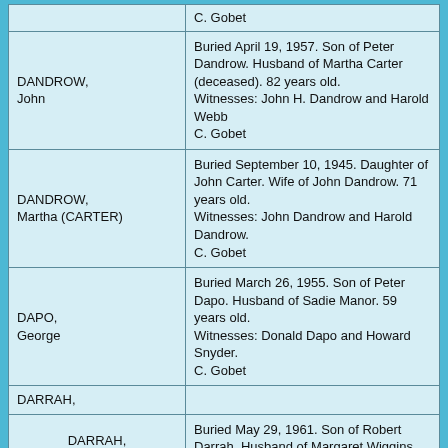| Name | Details |
| --- | --- |
|  | C. Gobet |
| DANDROW, John | Buried April 19, 1957. Son of Peter Dandrow. Husband of Martha Carter (deceased). 82 years old.
Witnesses: John H. Dandrow and Harold Webb
C. Gobet |
| DANDROW, Martha (CARTER) | Buried September 10, 1945. Daughter of John Carter. Wife of John Dandrow. 71 years old.
Witnesses: John Dandrow and Harold Dandrow.
C. Gobet |
| DAPO, George | Buried March 26, 1955. Son of Peter Dapo. Husband of Sadie Manor. 59 years old.
Witnesses: Donald Dapo and Howard Snyder.
C. Gobet |
| DARRAH, |  |
| DARRAH, Edward N. | Buried May 29, 1961. Son of Robert Darrah. Husband of Margaret Wiggins. 71 years old. |